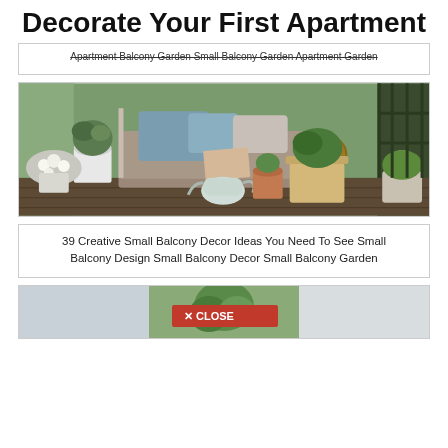Decorate Your First Apartment
Apartment Balcony Garden Small Balcony Garden Apartment Garden
[Figure (photo): A cozy small balcony decorated with a daybed covered in grey linen, multiple blue and grey cushions, potted plants including lavender and herbs in white pots, white flowers, terracotta pots, a small wooden side table with a mug, and a white watering can on the wooden deck floor.]
39 Creative Small Balcony Decor Ideas You Need To See Small Balcony Design Small Balcony Decor Small Balcony Garden
[Figure (photo): Partial view of another balcony or garden scene, cropped at bottom of page, with a red CLOSE button overlay.]